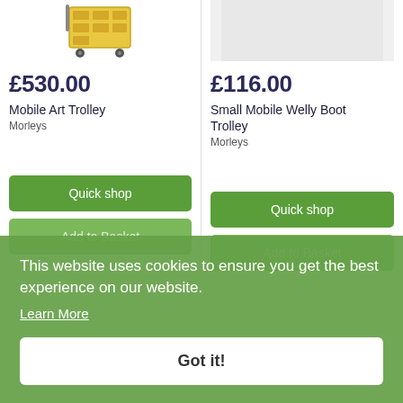[Figure (photo): Partial image of a Mobile Art Trolley (yellow wooden trolley with wheels), top portion visible]
£530.00
Mobile Art Trolley
Morleys
Quick shop
Add to Basket
[Figure (photo): Partial image of a Small Mobile Welly Boot Trolley, grey/light background placeholder]
£116.00
Small Mobile Welly Boot Trolley
Morleys
Quick shop
Add to Basket
This website uses cookies to ensure you get the best experience on our website.
Learn More
Got it!